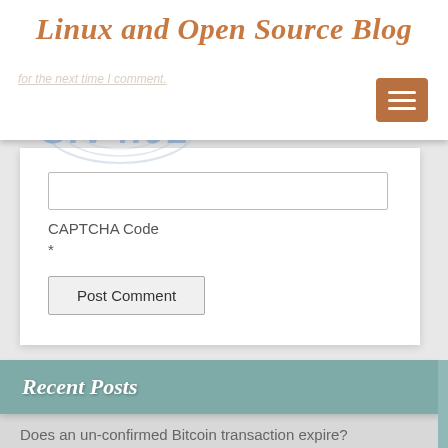Linux and Open Source Blog
for the next time I comment.
[Figure (other): CAPTCHA image showing SIV4.92 with circular watermark pattern and registered trademark symbol]
CAPTCHA Code
*
Post Comment
Recent Posts
Does an un-confirmed Bitcoin transaction expire?